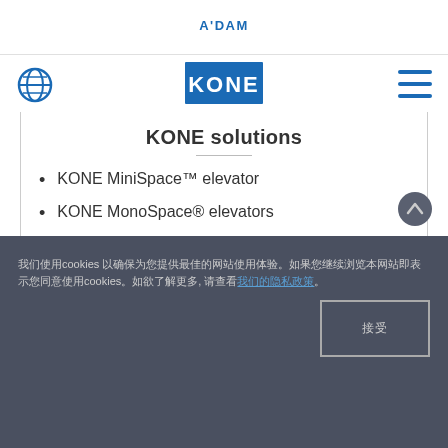A'DAM
[Figure (logo): Globe/language icon (blue circle with grid lines)]
[Figure (logo): KONE logo — white letters on blue rectangle]
[Figure (infographic): Hamburger menu icon (three blue horizontal lines)]
KONE solutions
KONE MiniSpace™ elevator
KONE MonoSpace® elevators
KONE Destination control system
KONE E-Link™ monitoring system
KONE Access™
我们使用cookies 以确保为您提供最佳的网站使用体验。如果您继续浏览本网站 即表示您同意使用cookies。如欲了解更多, 请查看我们的隐私政策。
接受